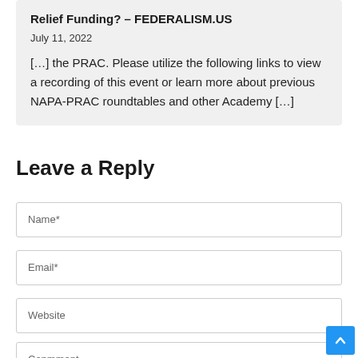Relief Funding? – FEDERALISM.US
July 11, 2022
[…] the PRAC. Please utilize the following links to view a recording of this event or learn more about previous NAPA-PRAC roundtables and other Academy […]
Leave a Reply